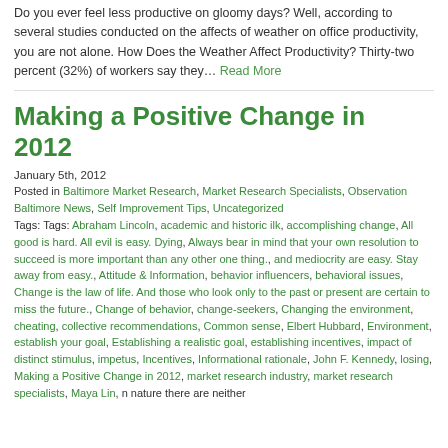Do you ever feel less productive on gloomy days? Well, according to several studies conducted on the affects of weather on office productivity, you are not alone. How Does the Weather Affect Productivity? Thirty-two percent (32%) of workers say they… Read More
Making a Positive Change in 2012
January 5th, 2012
Posted in Baltimore Market Research, Market Research Specialists, Observation Baltimore News, Self Improvement Tips, Uncategorized
Tags: Tags: Abraham Lincoln, academic and historic ilk, accomplishing change, All good is hard. All evil is easy. Dying, Always bear in mind that your own resolution to succeed is more important than any other one thing., and mediocrity are easy. Stay away from easy., Attitude & Information, behavior influencers, behavioral issues, Change is the law of life. And those who look only to the past or present are certain to miss the future., Change of behavior, change-seekers, Changing the environment, cheating, collective recommendations, Common sense, Elbert Hubbard, Environment, establish your goal, Establishing a realistic goal, establishing incentives, impact of distinct stimulus, impetus, Incentives, Informational rationale, John F. Kennedy, losing, Making a Positive Change in 2012, market research industry, market research specialists, Maya Lin, n nature there are neither